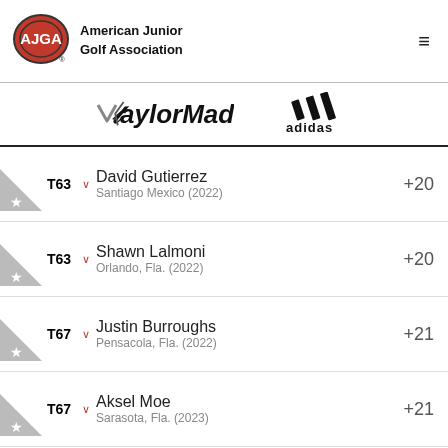[Figure (logo): AJGA (American Junior Golf Association) logo — red oval with white AJGA text]
American Junior Golf Association
[Figure (logo): TaylorMade logo]
[Figure (logo): adidas logo — three stripes with adidas text]
T63  David Gutierrez  Santiago Mexico (2022)  +20
T63  Shawn Lalmoni  Orlando, Fla. (2022)  +20
T67  Justin Burroughs  Pensacola, Fla. (2022)  +21
T67  Aksel Moe  Sarasota, Fla. (2023)  +21